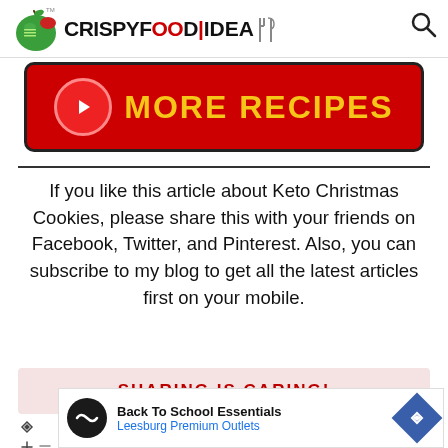CrispyFoodIdea
[Figure (illustration): Red button with circular play icon and MORE RECIPES text in yellow on dark red background]
If you like this article about Keto Christmas Cookies, please share this with your friends on Facebook, Twitter, and Pinterest. Also, you can subscribe to my blog to get all the latest articles first on your mobile.
SHARING IS CARING!
[Figure (screenshot): Advertisement: Back To School Essentials - Leesburg Premium Outlets]